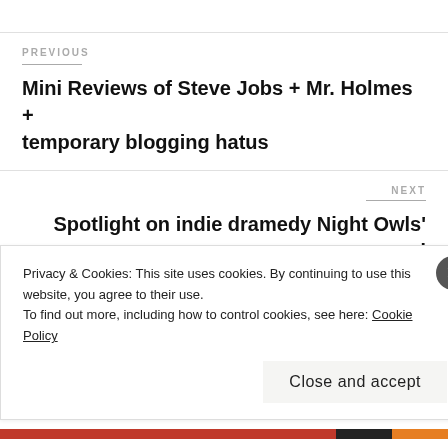PREVIOUS
Mini Reviews of Steve Jobs + Mr. Holmes + temporary blogging hatus
NEXT
Spotlight on indie dramedy Night Owls' and interview with writer/director Charles Hood
Privacy & Cookies: This site uses cookies. By continuing to use this website, you agree to their use.
To find out more, including how to control cookies, see here: Cookie Policy
Close and accept